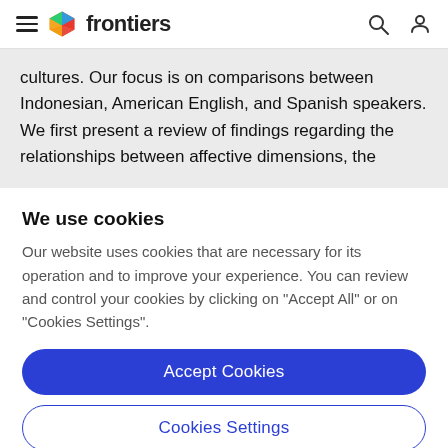frontiers
cultures. Our focus is on comparisons between Indonesian, American English, and Spanish speakers. We first present a review of findings regarding the relationships between affective dimensions, the
We use cookies
Our website uses cookies that are necessary for its operation and to improve your experience. You can review and control your cookies by clicking on "Accept All" or on "Cookies Settings".
Accept Cookies
Cookies Settings